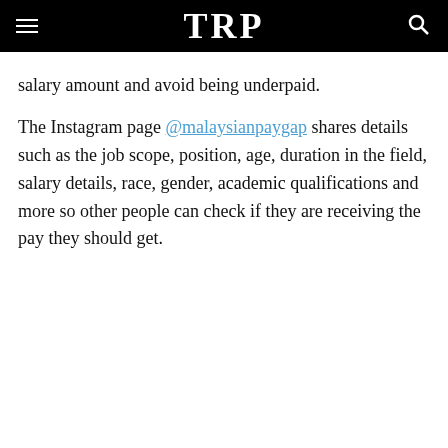TRP
salary amount and avoid being underpaid.
The Instagram page @malaysianpaygap shares details such as the job scope, position, age, duration in the field, salary details, race, gender, academic qualifications and more so other people can check if they are receiving the pay they should get.